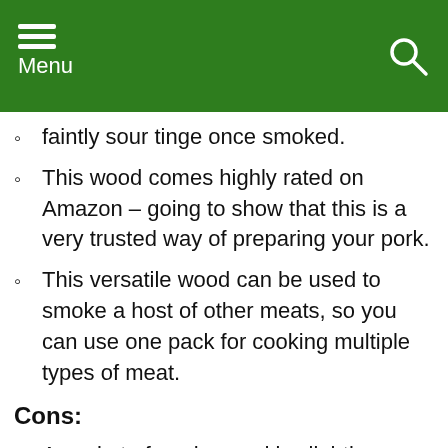Menu
faintly sour tinge once smoked.
This wood comes highly rated on Amazon – going to show that this is a very trusted way of preparing your pork.
This versatile wood can be used to smoke a host of other meats, so you can use one pack for cooking multiple types of meat.
Cons:
A packet of apple wood is slightly more expensive, although it will last you a while if you're mixing it in with another cheaper base…